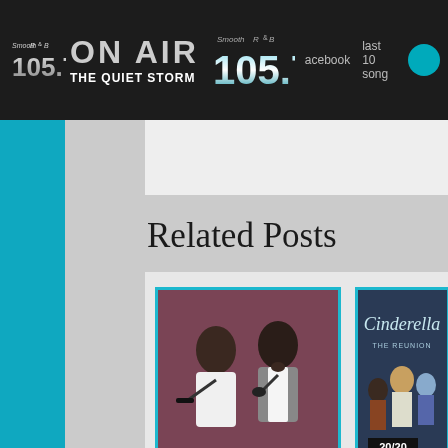Smooth R&B 105.7 ON AIR THE QUIET STORM | acebook | last 10 songs
Related Posts
[Figure (photo): Two men performing on stage with microphones, one in white shirt and one in vest]
Bobby Shmurda
[Figure (photo): Cinderella The Reunion movie poster with cast members, ABC 20/20 logo]
Cast of 'Rodgers &